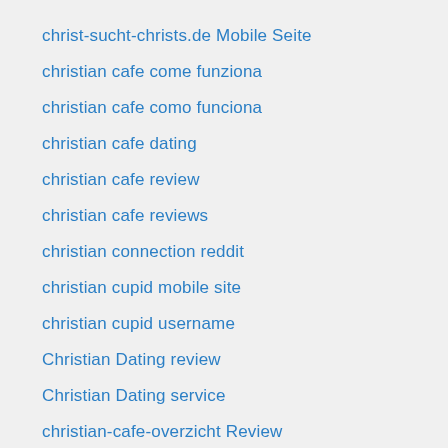christ-sucht-christs.de Mobile Seite
christian cafe come funziona
christian cafe como funciona
christian cafe dating
christian cafe review
christian cafe reviews
christian connection reddit
christian cupid mobile site
christian cupid username
Christian Dating review
Christian Dating service
christian-cafe-overzicht Review
christian-chat-rooms mobile site
christian-cupid-overzicht Review
christiancafe username